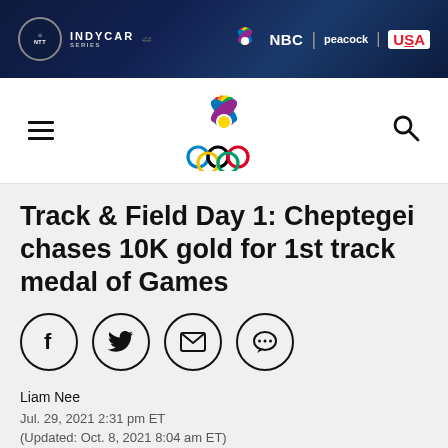[Figure (photo): NTT INDYCAR SERIES advertisement banner with NBC, Peacock, and USA Network logos on dark background with racing cars]
[Figure (logo): NBC Sports Olympics logo: NBC peacock feather logo above Olympic rings]
Track & Field Day 1: Cheptegei chases 10K gold for 1st track medal of Games
[Figure (infographic): Social media sharing buttons: Facebook, Twitter, Email, and more options (speech bubble) icons in circles]
Liam Nee
Jul. 29, 2021 2:31 pm ET
(Updated: Oct. 8, 2021 8:04 am ET)